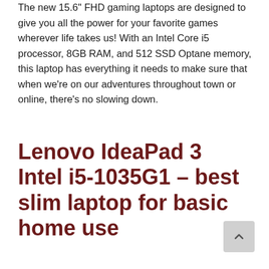The new 15.6" FHD gaming laptops are designed to give you all the power for your favorite games wherever life takes us! With an Intel Core i5 processor, 8GB RAM, and 512 SSD Optane memory, this laptop has everything it needs to make sure that when we're on our adventures throughout town or online, there's no slowing down.
Lenovo IdeaPad 3 Intel i5-1035G1 – best slim laptop for basic home use